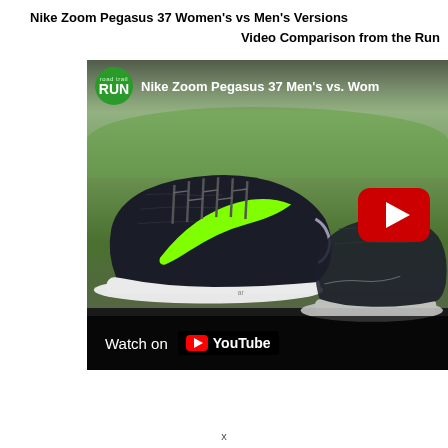Nike Zoom Pegasus 37 Women's vs Men's Versions
Video Comparison from the Run
[Figure (screenshot): YouTube video thumbnail showing Nike Zoom Pegasus 37 Men's vs. Women's comparison video. Shows a black Nike running shoe with green swoosh on a grassy outdoor background. Road Trail Run logo in upper left. Large red YouTube play button overlay. 'Watch on YouTube' bar at bottom.]
x